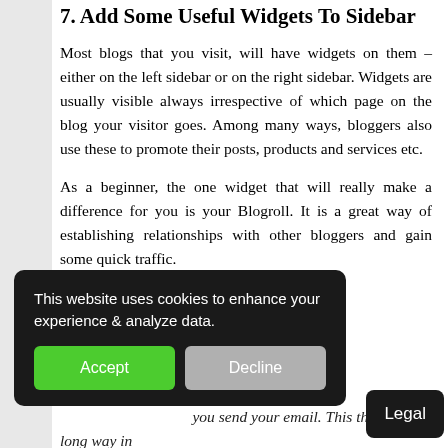7. Add Some Useful Widgets To Sidebar
Most blogs that you visit, will have widgets on them – either on the left sidebar or on the right sidebar. Widgets are usually visible always irrespective of which page on the blog your visitor goes. Among many ways, bloggers also use these to promote their posts, products and services etc.
As a beginner, the one widget that will really make a difference for you is your Blogroll. It is a great way of establishing relationships with other bloggers and gain some quick traffic.
...to your blog roll. ...l informing them ...have linked to it. ...omments to some ...know yo... ...you send your email. This thing goes a long way in
[Figure (screenshot): Cookie consent overlay with black background, text 'This website uses cookies to enhance your experience & analyze data.', green Accept button and grey Decline button.]
[Figure (screenshot): Legal badge in bottom right corner, black background with white text 'Legal'.]